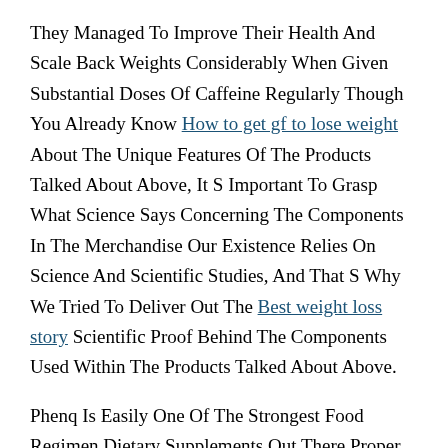They Managed To Improve Their Health And Scale Back Weights Considerably When Given Substantial Doses Of Caffeine Regularly Though You Already Know How to get gf to lose weight About The Unique Features Of The Products Talked About Above, It S Important To Grasp What Science Says Concerning The Components In The Merchandise Our Existence Relies On Science And Scientific Studies, And That S Why We Tried To Deliver Out The Best weight loss story Scientific Proof Behind The Components Used Within The Products Talked About Above.
Phenq Is Easily One Of The Strongest Food Regimen Dietary Supplements Out There Proper Now If Combined With The Load Management Methods Shared In This Publish, You Ll Have The Ability To Hit Your Dream